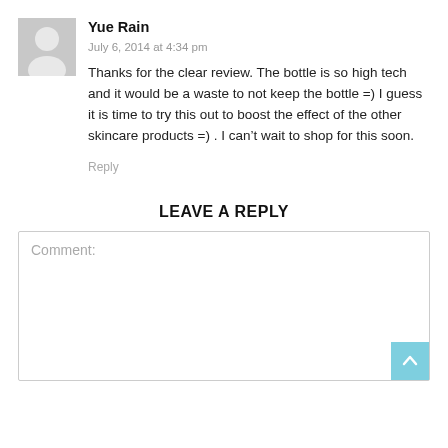[Figure (illustration): Grey circular avatar silhouette placeholder image]
Yue Rain
July 6, 2014 at 4:34 pm
Thanks for the clear review. The bottle is so high tech and it would be a waste to not keep the bottle =) I guess it is time to try this out to boost the effect of the other skincare products =) . I can't wait to shop for this soon.
Reply
LEAVE A REPLY
Comment: